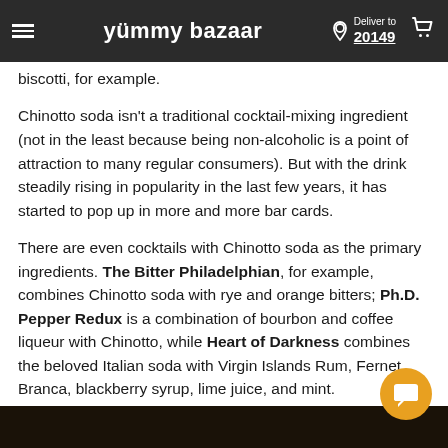yümmy bazaar — Deliver to 20149
biscotti, for example.
Chinotto soda isn't a traditional cocktail-mixing ingredient (not in the least because being non-alcoholic is a point of attraction to many regular consumers). But with the drink steadily rising in popularity in the last few years, it has started to pop up in more and more bar cards.
There are even cocktails with Chinotto soda as the primary ingredients. The Bitter Philadelphian, for example, combines Chinotto soda with rye and orange bitters; Ph.D. Pepper Redux is a combination of bourbon and coffee liqueur with Chinotto, while Heart of Darkness combines the beloved Italian soda with Virgin Islands Rum, Fernet Branca, blackberry syrup, lime juice, and mint.
[Figure (photo): Dark background image at the bottom of the page]